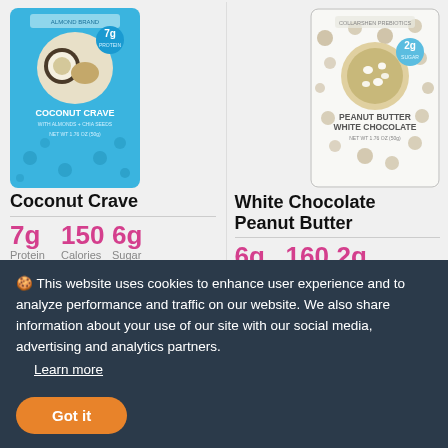[Figure (photo): Coconut Crave protein bar product package in teal/blue color with coconut imagery and '7g' badge]
Coconut Crave
7g Protein  150 Calories  6g Sugar
Ingredients: Almond Butter, Tapioca Syrup, Shredded Coconut, Fermented Pea and Rice Protein with Shiitake Mycelium, Dates,
[Figure (photo): White Chocolate Peanut Butter protein bar product package in white with polka dots and '2g' badge]
White Chocolate Peanut Butter
6g Protein  160 Calories  2g Sugar
Ingredients: Peanut Butter, Tapioca Syrup, MCT Oil Powder, Cream Powder, Peanut Flour,
🍪 This website uses cookies to enhance user experience and to analyze performance and traffic on our website. We also share information about your use of our site with our social media, advertising and analytics partners. Learn more
Got it